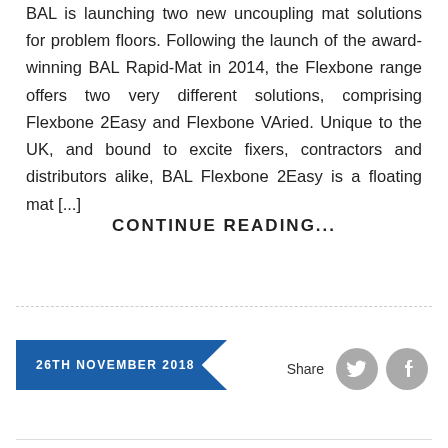BAL is launching two new uncoupling mat solutions for problem floors. Following the launch of the award-winning BAL Rapid-Mat in 2014, the Flexbone range offers two very different solutions, comprising Flexbone 2Easy and Flexbone VAried. Unique to the UK, and bound to excite fixers, contractors and distributors alike, BAL Flexbone 2Easy is a floating mat [...]
CONTINUE READING...
26TH NOVEMBER 2018
Share